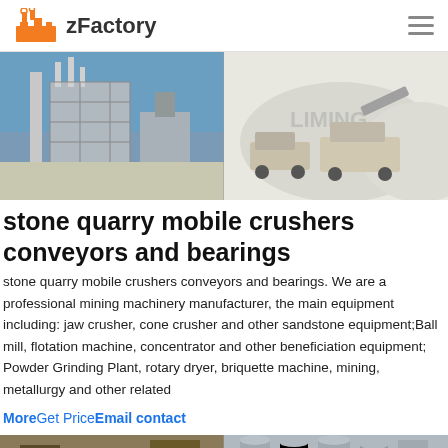zFactory
[Figure (photo): Two-panel hero image: left panel shows a large industrial plant/factory structure with steel framework against a blue sky; right panel shows mobile crushing/mining equipment vehicles on a white dusty surface with 'LIMING' watermark.]
stone quarry mobile crushers conveyors and bearings
stone quarry mobile crushers conveyors and bearings. We are a professional mining machinery manufacturer, the main equipment including: jaw crusher, cone crusher and other sandstone equipment;Ball mill, flotation machine, concentrator and other beneficiation equipment; Powder Grinding Plant, rotary dryer, briquette machine, mining, metallurgy and other related
MoreGet PriceEmail contact
[Figure (photo): Bottom strip showing two partial photos: left shows mining/quarry equipment scene, right shows cylindrical industrial storage tanks/silos.]